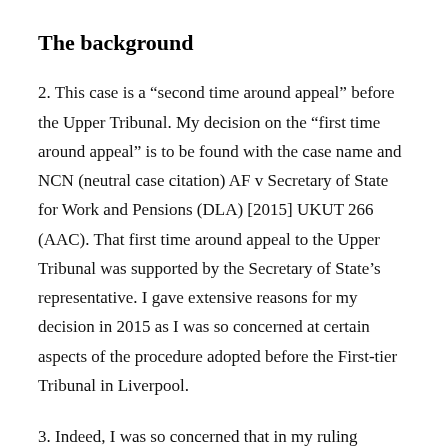The background
2. This case is a “second time around appeal” before the Upper Tribunal. My decision on the “first time around appeal” is to be found with the case name and NCN (neutral case citation) AF v Secretary of State for Work and Pensions (DLA) [2015] UKUT 266 (AAC). That first time around appeal to the Upper Tribunal was supported by the Secretary of State’s representative. I gave extensive reasons for my decision in 2015 as I was so concerned at certain aspects of the procedure adopted before the First-tier Tribunal in Liverpool.
3. Indeed, I was so concerned that in my ruling granting permission to appeal on the first time around appeal, I